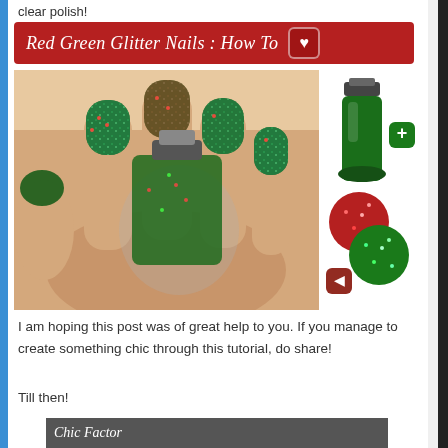clear polish!
[Figure (infographic): Red banner with text 'Red Green Glitter Nails : How To' and a heart icon on a dark red background]
[Figure (photo): Photo of hands with red and green glitter nail polish, holding a glitter nail polish bottle. To the right: a green nail polish bottle, a green plus icon button, a red glitter circle, a green glitter circle, and a red back-arrow button.]
I am hoping this post was of great help to you. If you manage to create something chic through this tutorial, do share!
Till then!
[Figure (photo): Bottom strip showing partial image with 'Chic Factor' text in italic white on dark background]